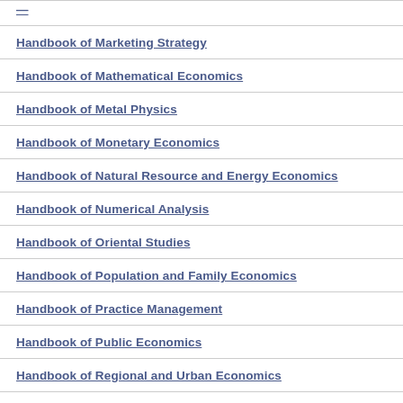Handbook of Marketing Strategy
Handbook of Mathematical Economics
Handbook of Metal Physics
Handbook of Monetary Economics
Handbook of Natural Resource and Energy Economics
Handbook of Numerical Analysis
Handbook of Oriental Studies
Handbook of Population and Family Economics
Handbook of Practice Management
Handbook of Public Economics
Handbook of Regional and Urban Economics
Handbook of Research Methods and Applications in